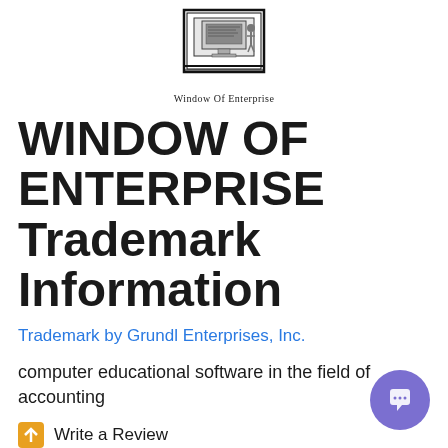[Figure (logo): Black and white stamp/seal logo with text 'Window Of Enterprise' below it]
WINDOW OF ENTERPRISE Trademark Information
Trademark by Grundl Enterprises, Inc.
computer educational software in the field of accounting
Write a Review